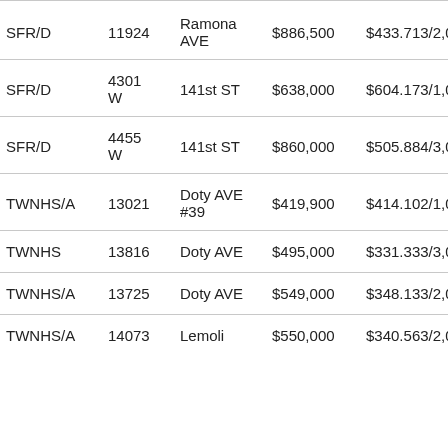| Type | Number | Street | Price | Price/Info | Days |
| --- | --- | --- | --- | --- | --- |
| SFR/D | 11924 | Ramona AVE | $886,500 | $433.713/2,0,0,0 | 20 |
| SFR/D | 4301 W | 141st ST | $638,000 | $604.173/1,0,0,0 | 10 |
| SFR/D | 4455 W | 141st ST | $860,000 | $505.884/3,0,0,0 | 17 |
| TWNHS/A | 13021 | Doty AVE #39 | $419,900 | $414.102/1,0,1,0 | 10 |
| TWNHS | 13816 | Doty AVE | $495,000 | $331.333/3,0,0,0 | 14 |
| TWNHS/A | 13725 | Doty AVE | $549,000 | $348.133/2,0,1,0 | 15 |
| TWNHS/A | 14073 | Lemoli | $550,000 | $340.563/2,0,1,0 | 16 |